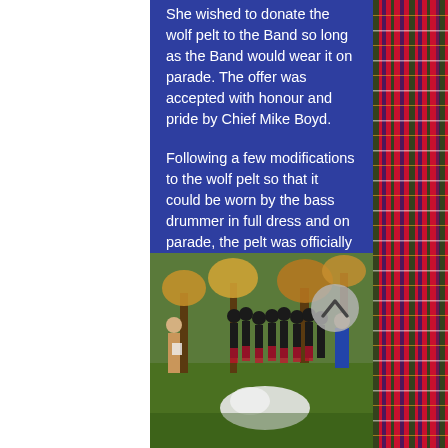She wished to donate the wolf pelt to the Band so long as the Band would wear it on parade. The offer was accepted with honour and pride by Chief Mike Boyd.

Following a few modifications to the wolf pelt so that it could be worn by the bass drummer in full dress and on parade, the pelt was officially presented to the Band and worn for the first time at the Alberta Police and Peace Officer's Memorial Day Parade, September 26, 2010.
[Figure (photo): A group of pipe band members in full dress uniform (kilts, feather bonnets) gathered outdoors in a park setting with autumn trees. A woman in civilian clothing stands to the left reading from papers. A man in blue uniform stands to the right. A white wolf pelt is visible in the foreground. A scroll-up navigation button overlays the top-right of the image.]